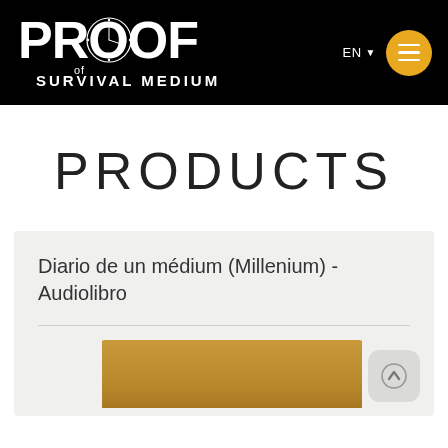[Figure (logo): PROOF of SURVIVAL MEDIUM logo in white on black background]
EN ▾  [menu icon]
PRODUCTS
Diario de un médium (Millenium) - Audiolibro
[Figure (photo): Partial view of a product image with golden/tan colored background, partially cropped at bottom of page]